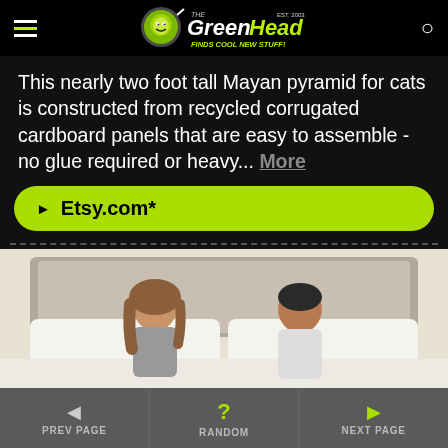The Green Head - Finds Cool New Stuff!
This nearly two foot tall Mayan pyramid for cats is constructed from recycled corrugated cardboard panels that are easy to assemble - no glue required or heavy... More
► Etsy.com*
[Figure (photo): A couple sitting on a bed with white bedding, smiling and looking down]
◄ PREV PAGE | ? RANDOM | ► NEXT PAGE